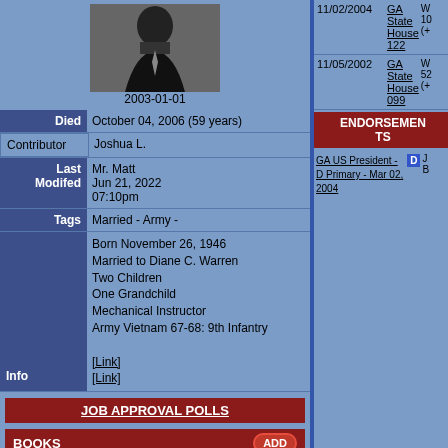| Label | Value |
| --- | --- |
| Died | October 04, 2006 (59 years) |
| Contributor | Joshua L. |
| Last Modifed | Mr. Matt
Jun 21, 2022
07:10pm |
| Tags | Married - Army - |
| Info | Born November 26, 1946
Married to Diane C. Warren
Two Children
One Grandchild
Mechanical Instructor
Army Vietnam 67-68: 9th Infantry
[Link]
[Link] |
[Figure (photo): Black and white portrait photo of a man in suit and tie, dated 2003-01-01]
JOB APPROVAL POLLS
BOOKS
| Title | Purchase | Contributor |
| --- | --- | --- |
EVENTS
| Start Date | End Date | Type | Title | Contributor |
| --- | --- | --- | --- | --- |
| Date | Race | Result |
| --- | --- | --- |
| 11/02/2004 | GA State House 122 | W
10
(+ |
| 11/05/2002 | GA State House 099 | W
52
(+ |
ENDORSEMENTS
GA US President - D Primary - Mar 02, 2004